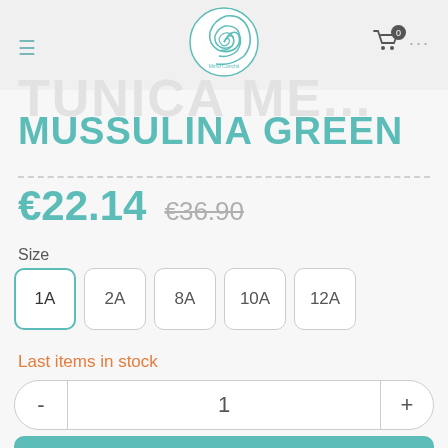Navigation header with hamburger menu, Mimo Conchit logo, cart (0) and more options
TUNICA ME...
MUSSULINA GREEN
€22.14  €36.90
Size
1A  2A  8A  10A  12A
Last items in stock
- 1 +
Add To Cart